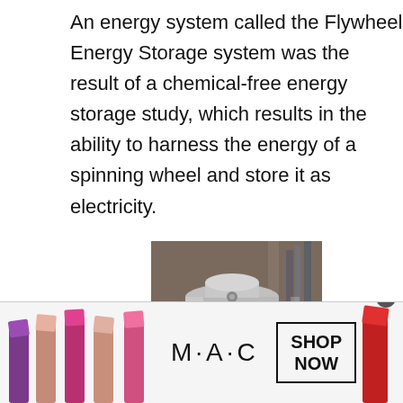An energy system called the Flywheel Energy Storage system was the result of a chemical-free energy storage study, which results in the ability to harness the energy of a spinning wheel and store it as electricity.
[Figure (photo): Photo of a NASA Flywheel Energy Storage system — a cylindrical metallic device with a NASA logo/badge on the front, surrounded by laboratory equipment and wiring.]
[Figure (photo): Advertisement banner showing MAC cosmetics lipsticks in various colors (purple, pink, red) on the left and right, MAC brand name in center, and a SHOP NOW button with border on the right side.]